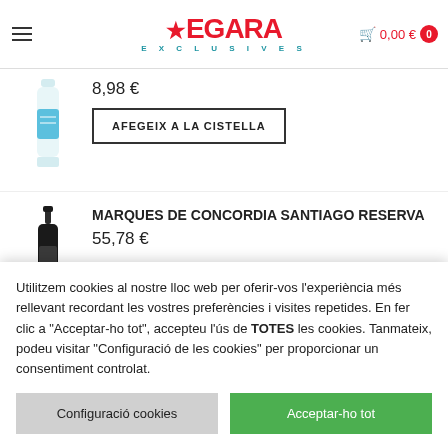eGARA EXCLUSIVES — 0,00 € 0
8,98 €
AFEGEIX A LA CISTELLA
[Figure (photo): Product image: a cylindrical bottle/can with blue label]
[Figure (photo): Product image: a dark wine bottle]
MARQUES DE CONCORDIA SANTIAGO RESERVA
55,78 €
Utilitzem cookies al nostre lloc web per oferir-vos l'experiència més rellevant recordant les vostres preferències i visites repetides. En fer clic a "Acceptar-ho tot", accepteu l'ús de TOTES les cookies. Tanmateix, podeu visitar "Configuració de les cookies" per proporcionar un consentiment controlat.
Configuració cookies
Acceptar-ho tot